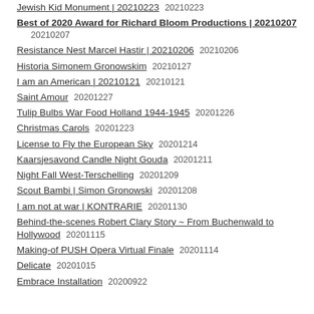Jewish Kid Monument | 20210223   20210223
Best of 2020 Award for Richard Bloom Productions | 20210207   20210207
Resistance Nest Marcel Hastir | 20210206   20210206
Historia Simonem Gronowskim   20210127
I am an American | 20210121   20210121
Saint Amour   20201227
Tulip Bulbs War Food Holland 1944-1945   20201226
Christmas Carols   20201223
License to Fly the European Sky   20201214
Kaarsjesavond Candle Night Gouda   20201211
Night Fall West-Terschelling   20201209
Scout Bambi | Simon Gronowski   20201208
I am not at war | KONTRARIE   20201130
Behind-the-scenes Robert Clary Story ~ From Buchenwald to Hollywood   20201115
Making-of PUSH Opera Virtual Finale   20201114
Delicate   20201015
Embrace Installation   20200922